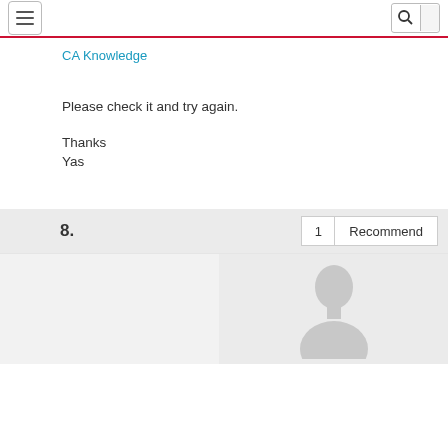Navigation bar with hamburger menu and search
CA Knowledge
Please check it and try again.
Thanks
Yas
8.
1  Recommend
[Figure (illustration): Default user avatar silhouette - grey profile placeholder image]